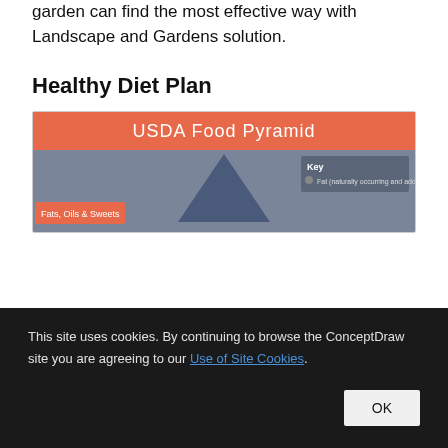garden can find the most effective way with Landscape and Gardens solution.
Healthy Diet Plan
[Figure (infographic): USDA Food Pyramid infographic with orange header bar reading 'USDA Food Pyramid', a blue-gray pyramid shape in the center, a Key legend on the right side, and a label 'Fats, Oils & Sweets' on the lower left on a blue-gray background.]
This site uses cookies. By continuing to browse the ConceptDraw site you are agreeing to our Use of Site Cookies.